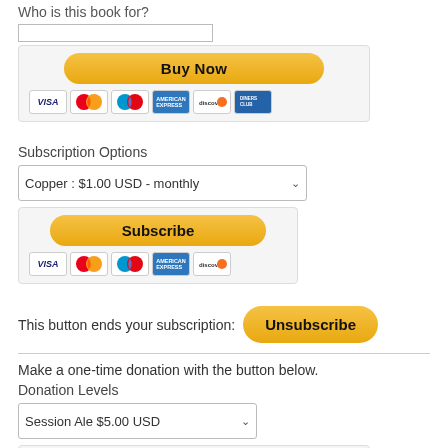Who is this book for?
[Figure (screenshot): Text input field (empty), Buy Now PayPal button with credit card icons (Visa, Mastercard, Maestro, American Express, Discover, another card)]
Subscription Options
[Figure (screenshot): Dropdown selector showing 'Copper : $1.00 USD - monthly', Subscribe PayPal button with credit card icons (Visa, Mastercard, Maestro, American Express, Discover)]
This button ends your subscription:
[Figure (screenshot): Unsubscribe PayPal button]
Make a one-time donation with the button below.
Donation Levels
[Figure (screenshot): Dropdown selector showing 'Session Ale $5.00 USD', Buy Now PayPal button with credit card icons]